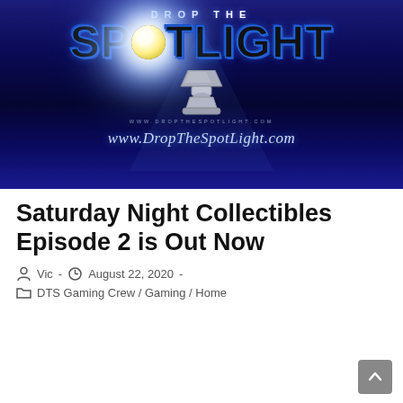[Figure (logo): Drop The Spotlight logo on dark blue background with spotlight lamp graphic, text 'DROP THE SPOTLIGHT' and 'www.DropTheSpotLight.com']
Saturday Night Collectibles Episode 2 is Out Now
Vic - August 22, 2020 - DTS Gaming Crew / Gaming / Home